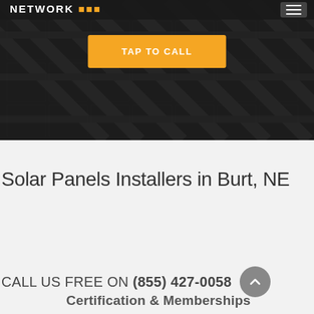[Figure (photo): Dark solar panels background image filling the hero banner area with diagonal panel lines visible]
NETWORK [logo] | menu button
TAP TO CALL
Solar Panels Installers in Burt, NE
CALL US FREE ON (855) 427-0058
Certification & Memberships